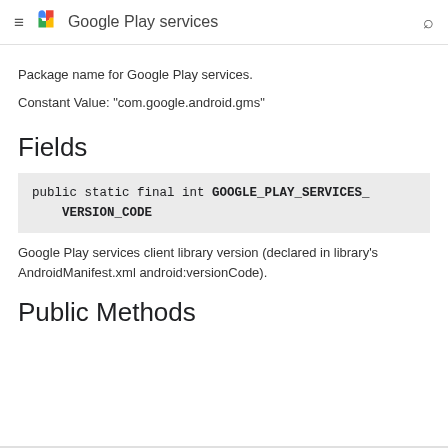Google Play services
Package name for Google Play services.
Constant Value: "com.google.android.gms"
Fields
public static final int GOOGLE_PLAY_SERVICES_VERSION_CODE
Google Play services client library version (declared in library's AndroidManifest.xml android:versionCode).
Public Methods